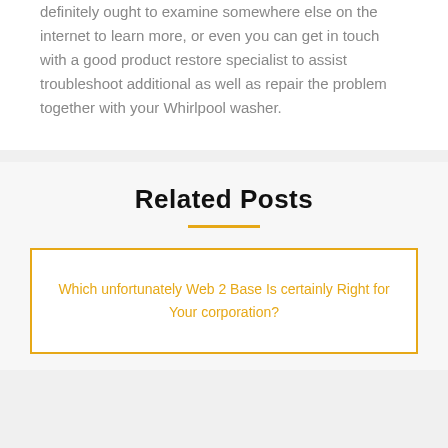definitely ought to examine somewhere else on the internet to learn more, or even you can get in touch with a good product restore specialist to assist troubleshoot additional as well as repair the problem together with your Whirlpool washer.
Related Posts
Which unfortunately Web 2 Base Is certainly Right for Your corporation?